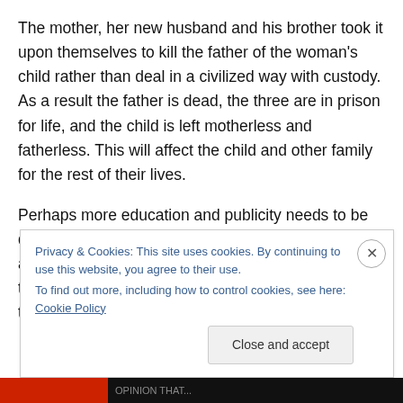The mother, her new husband and his brother took it upon themselves to kill the father of the woman's child rather than deal in a civilized way with custody. As a result the father is dead, the three are in prison for life, and the child is left motherless and fatherless. This will affect the child and other family for the rest of their lives.
Perhaps more education and publicity needs to be done to make society aware of free services available to them in times of conflict and marital troubles. It's not obvious if it would have helped in this case, but maybe it would help
Privacy & Cookies: This site uses cookies. By continuing to use this website, you agree to their use. To find out more, including how to control cookies, see here: Cookie Policy
Close and accept